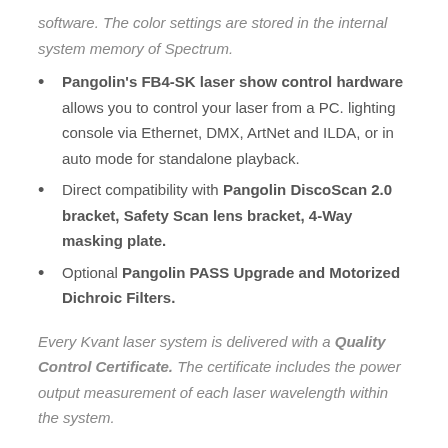software. The color settings are stored in the internal system memory of Spectrum.
Pangolin's FB4-SK laser show control hardware allows you to control your laser from a PC. lighting console via Ethernet, DMX, ArtNet and ILDA, or in auto mode for standalone playback.
Direct compatibility with Pangolin DiscoScan 2.0 bracket, Safety Scan lens bracket, 4-Way masking plate.
Optional Pangolin PASS Upgrade and Motorized Dichroic Filters.
Every Kvant laser system is delivered with a Quality Control Certificate. The certificate includes the power output measurement of each laser wavelength within the system.